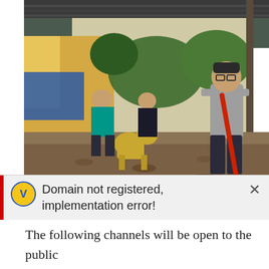[Figure (photo): Man sweeping an outdoor area with a broom in what appears to be a school yard or residential compound. A dog statue is visible in the background along with other people and buildings.]
The Public Assistance Command Center (PACC) is se[t up] at the DepEd Central Office in Pasig City. It will be operational from 27 May to 7 June and will be open [to] queries and concerns regarding the opening of schools
Domain not registered, implementation error!
The following channels will be open to the public